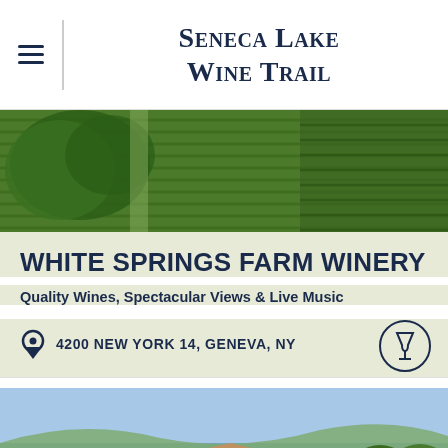Seneca Lake Wine Trail
[Figure (photo): Aerial view of vineyard rows and green trees]
White Springs Farm Winery
Quality Wines, Spectacular Views & Live Music
4200 New York 14, Geneva, NY
[Figure (photo): Winery barn building with Seneca Lake and hillside in background]